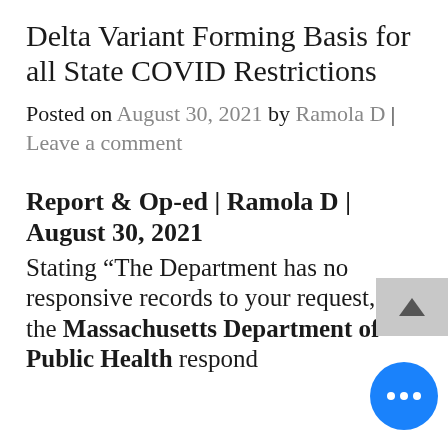Delta Variant Forming Basis for all State COVID Restrictions
Posted on August 30, 2021 by Ramola D | Leave a comment
Report & Op-ed | Ramola D | August 30, 2021
Stating “The Department has no responsive records to your request,” the Massachusetts Department of Public Health responded